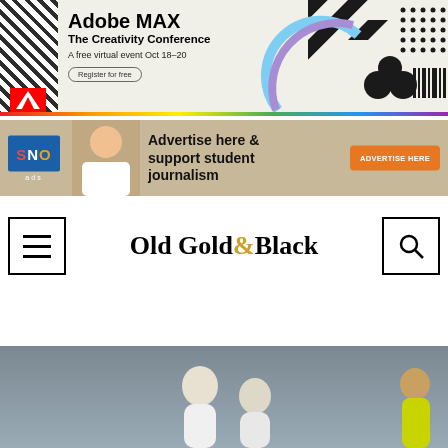[Figure (other): Adobe MAX – The Creativity Conference banner ad. Text: 'Adobe MAX The Creativity Conference A free virtual event Oct 18–20' with Register for free button. Colorful geometric graphics on right.]
[Figure (other): SNO ads banner: 'Advertise here & support student journalism' with orange ADVERTISE HERE button and SNO ads logo.]
Old Gold & Black
[Figure (photo): Sports photo showing female athletes (likely field hockey or similar sport) in action on a court or field, one in yellow/green vest visible on far right.]